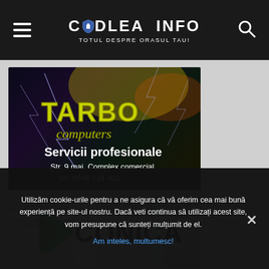CODLEA INFO - TOTUL DESPRE ORASUL TAU!
[Figure (photo): TARBO Computers advertisement banner with dark background featuring lightning effects. Text: TARBO computers, Servicii profesionale, Str. 9 mai, Complex comercial, tel: 0746 214 401]
[Figure (photo): CONICA advertisement banner with motion blur background showing a green and black logo]
Utilizăm cookie-urile pentru a ne asigura că vă oferim cea mai bună experiență pe site-ul nostru. Dacă veti continua să utilizați acest site, vom presupune că sunteți mulțumit de el.
Am inteles, multumesc!